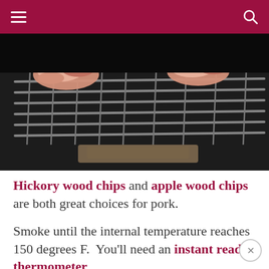menu / search
[Figure (photo): Photo of raw pork pieces on a metal grill rack inside a dark smoker or oven, with wood chips visible underneath]
Hickory wood chips and apple wood chips are both great choices for pork.
Smoke until the internal temperature reaches 150 degrees F.  You'll need an instant read thermometer.
Once done, wrap the smoked neck bones or ham hocks and freeze them for long-term storage or refrigerate them if you're going to use them within a week.